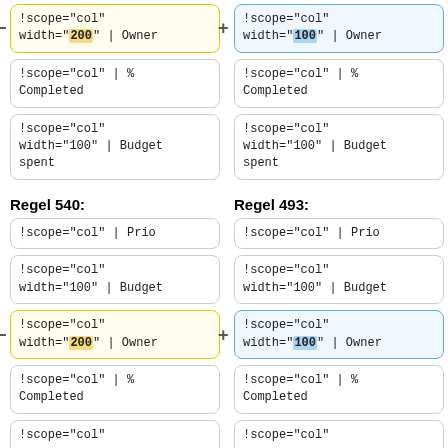!scope="col"
width="200" | Owner
!scope="col"
width="100" | Owner
!scope="col" | %
Completed
!scope="col" | %
Completed
!scope="col"
width="100" | Budget
spent
!scope="col"
width="100" | Budget
spent
Regel 540:
Regel 493:
!scope="col" | Prio
!scope="col" | Prio
!scope="col"
width="100" | Budget
!scope="col"
width="100" | Budget
!scope="col"
width="200" | Owner
!scope="col"
width="100" | Owner
!scope="col" | %
Completed
!scope="col" | %
Completed
!scope="col"
!scope="col"